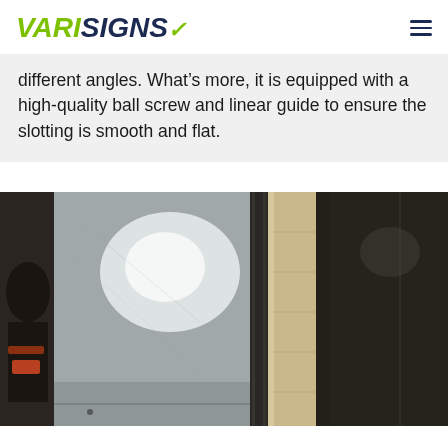VARISIGNS
different angles. What’s more, it is equipped with a high-quality ball screw and linear guide to ensure the slotting is smooth and flat.
[Figure (photo): Close-up photo of metal slotting machine output showing two slotted aluminum/metal panels side by side with a dark background, demonstrating smooth flat slots cut at precise angles.]